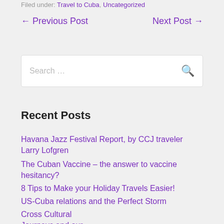Filed under: Travel to Cuba, Uncategorized
← Previous Post    Next Post →
Search …
Recent Posts
Havana Jazz Festival Report, by CCJ traveler Larry Lofgren
The Cuban Vaccine – the answer to vaccine hesitancy?
8 Tips to Make your Holiday Travels Easier!
US-Cuba relations and the Perfect Storm
Cross Cultural Journeys and our sister Foundation